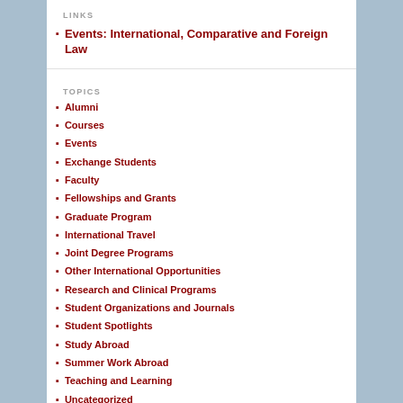LINKS
Events: International, Comparative and Foreign Law
TOPICS
Alumni
Courses
Events
Exchange Students
Faculty
Fellowships and Grants
Graduate Program
International Travel
Joint Degree Programs
Other International Opportunities
Research and Clinical Programs
Student Organizations and Journals
Student Spotlights
Study Abroad
Summer Work Abroad
Teaching and Learning
Uncategorized